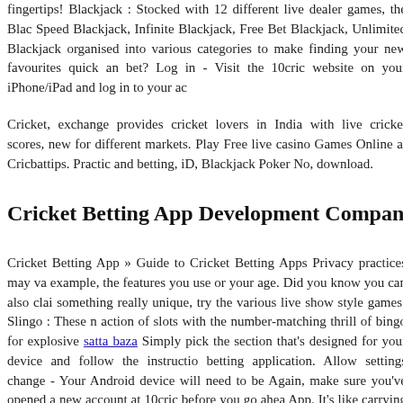fingertips! Blackjack : Stocked with 12 different live dealer games, the Blac Speed Blackjack, Infinite Blackjack, Free Bet Blackjack, Unlimited Blackjack organised into various categories to make finding your new favourites quick an bet? Log in - Visit the 10cric website on your iPhone/iPad and log in to your ac
Cricket, exchange provides cricket lovers in India with live cricket scores, new for different markets. Play Free live casino Games Online at Cricbattips. Practi and betting, iD, Blackjack Poker No, download.
Cricket Betting App Development Company - A3l
Cricket Betting App » Guide to Cricket Betting Apps Privacy practices may va example, the features you use or your age. Did you know you can also clai something really unique, try the various live show style games! Slingo : These n action of slots with the number-matching thrill of bingo for explosive satta baza Simply pick the section that's designed for your device and follow the instructio betting application. Allow settings change - Your Android device will need to be Again, make sure you've opened a new account at 10cric before you go ahea App. It's like carrying India's best casino around with you in your pocket! In vi to the desktop site with its appealing black and yellow design and attractive gra wondering what the 10cric App has to offer? At 10cric there are various spec sports betting and casino gameplay.